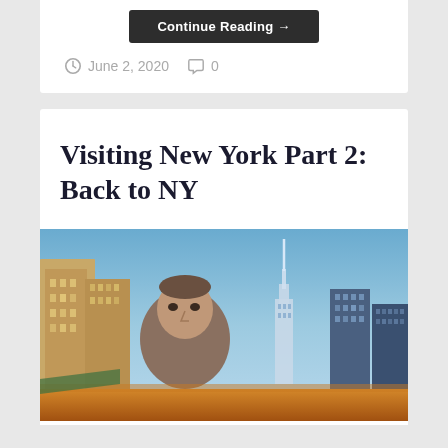Continue Reading →
June 2, 2020   0
Visiting New York Part 2: Back to NY
[Figure (photo): Person posing in front of New York City skyline at dusk with Empire State Building visible in background]